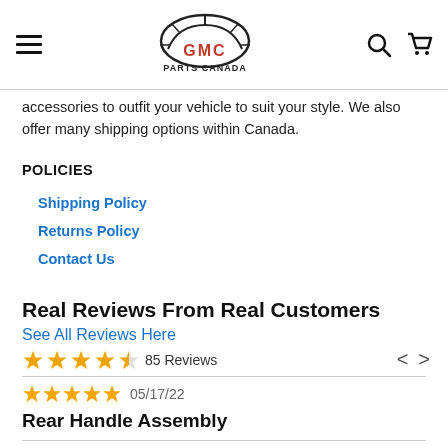GMC Parts Canada
accessories to outfit your vehicle to suit your style. We also offer many shipping options within Canada.
POLICIES
Shipping Policy
Returns Policy
Contact Us
Real Reviews From Real Customers
See All Reviews Here
★★★★☆  85 Reviews
★★★★★  05/17/22
Rear Handle Assembly